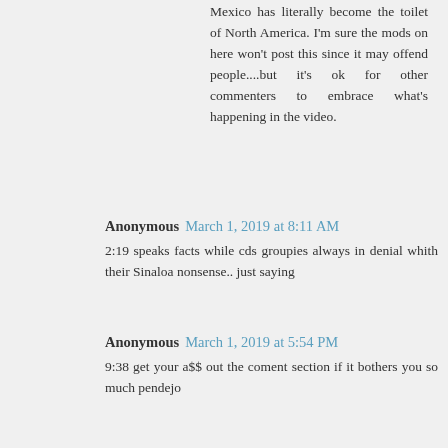Mexico has literally become the toilet of North America. I'm sure the mods on here won't post this since it may offend people....but it's ok for other commenters to embrace what's happening in the video.
Anonymous  March 1, 2019 at 8:11 AM
2:19 speaks facts while cds groupies always in denial whith their Sinaloa nonsense.. just saying
Anonymous  March 1, 2019 at 5:54 PM
9:38 get your a$$ out the coment section if it bothers you so much pendejo
Anonymous  March 3, 2019 at 7:31 AM
4:45 cheerleader....you've proved my point!
Reply